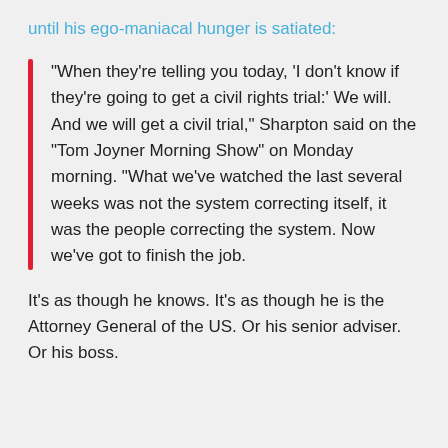until his ego-maniacal hunger is satiated:
“When they’re telling you today, ‘I don’t know if they’re going to get a civil rights trial:’ We will. And we will get a civil trial,” Sharpton said on the “Tom Joyner Morning Show” on Monday morning. “What we’ve watched the last several weeks was not the system correcting itself, it was the people correcting the system. Now we’ve got to finish the job.
It’s as though he knows. It’s as though he is the Attorney General of the US. Or his senior adviser. Or his boss.